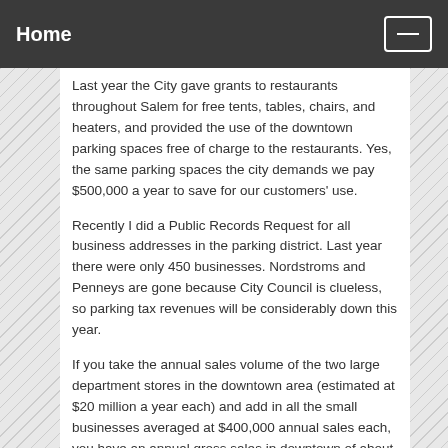Home
Last year the City gave grants to restaurants throughout Salem for free tents, tables, chairs, and heaters, and provided the use of the downtown parking spaces free of charge to the restaurants. Yes, the same parking spaces the city demands we pay $500,000 a year to save for our customers' use.
Recently I did a Public Records Request for all business addresses in the parking district. Last year there were only 450 businesses. Nordstroms and Penneys are gone because City Council is clueless, so parking tax revenues will be considerably down this year.
If you take the annual sales volume of the two large department stores in the downtown area (estimated at $20 million a year each) and add in all the small businesses averaged at $400,000 annual sales each, you have an annual gross sales in downtown of about $220 million.